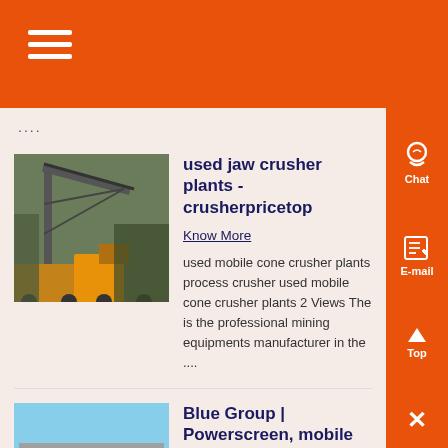☰ (navigation menu)
....
[Figure (photo): Industrial crane/conveyor equipment at a mining or construction site]
used jaw crusher plants - crusherpricetop
Know More
used mobile cone crusher plants process crusher used mobile cone crusher plants 2 Views The is the professional mining equipments manufacturer in the ....
[Figure (photo): Industrial building/factory exterior - Blue Group facility]
Blue Group | Powerscreen, mobile crushers, cone crusher
Know More